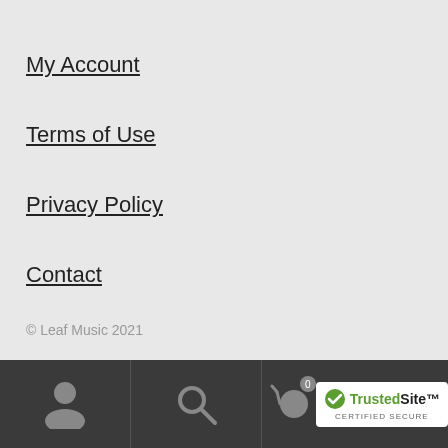My Account
Terms of Use
Privacy Policy
Contact
© Leaf Music 2021
[Figure (infographic): Bottom navigation bar with person icon, search icon, cart with badge showing 0, and TrustedSite certified secure badge]